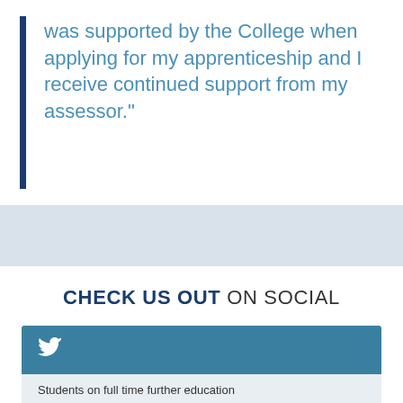was supported by the College when applying for my apprenticeship and I receive continued support from my assessor."
CHECK US OUT ON SOCIAL
[Figure (other): Twitter social media block with bird icon and tweet content]
Students on full time further education